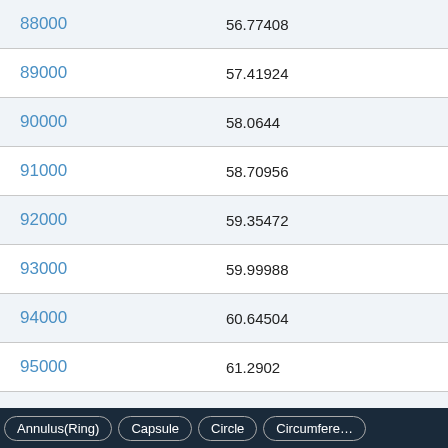|  |  |
| --- | --- |
| 88000 | 56.77408 |
| 89000 | 57.41924 |
| 90000 | 58.0644 |
| 91000 | 58.70956 |
| 92000 | 59.35472 |
| 93000 | 59.99988 |
| 94000 | 60.64504 |
| 95000 | 61.2902 |
| 96000 | 61.93536 |
| 97000 | 62.5… |
Annulus(Ring)   Capsule   Circle   Circumfere…